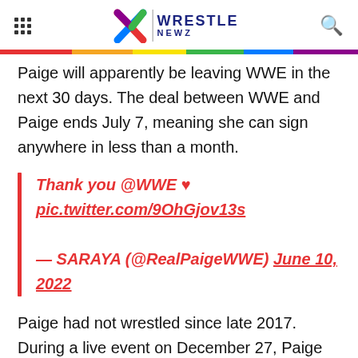WrestleNewz
Paige will apparently be leaving WWE in the next 30 days. The deal between WWE and Paige ends July 7, meaning she can sign anywhere in less than a month.
Thank you @WWE ♥ pic.twitter.com/9OhGjov13s — SARAYA (@RealPaigeWWE) June 10, 2022
Paige had not wrestled since late 2017. During a live event on December 27, Paige was injured in a six person tag bout.
She announced her official retirement on the